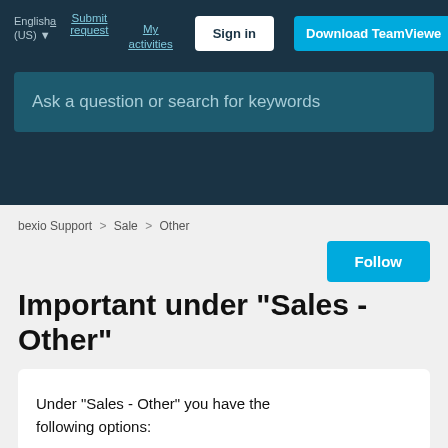English (US) ▼  Submit request  My activities  Sign in  Download TeamViewer
Ask a question or search for keywords
bexio Support > Sale > Other
Important under "Sales - Other"
Under "Sales - Other" you have the following options: